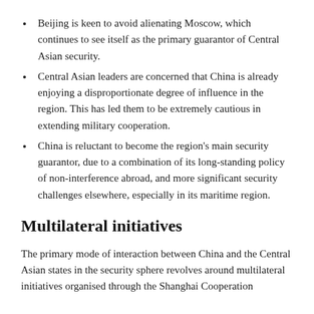Beijing is keen to avoid alienating Moscow, which continues to see itself as the primary guarantor of Central Asian security.
Central Asian leaders are concerned that China is already enjoying a disproportionate degree of influence in the region. This has led them to be extremely cautious in extending military cooperation.
China is reluctant to become the region's main security guarantor, due to a combination of its long-standing policy of non-interference abroad, and more significant security challenges elsewhere, especially in its maritime region.
Multilateral initiatives
The primary mode of interaction between China and the Central Asian states in the security sphere revolves around multilateral initiatives organised through the Shanghai Cooperation Organisation (SCO). The group was launched by China to develop...